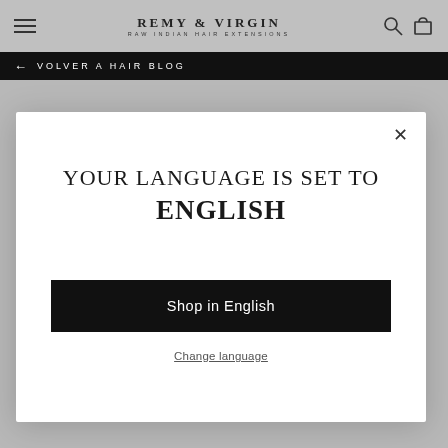REMY & VIRGIN
RAW INDIAN HAIR EXTENSIONS
← VOLVER A HAIR BLOG
YOUR LANGUAGE IS SET TO
ENGLISH
Shop in English
Change language